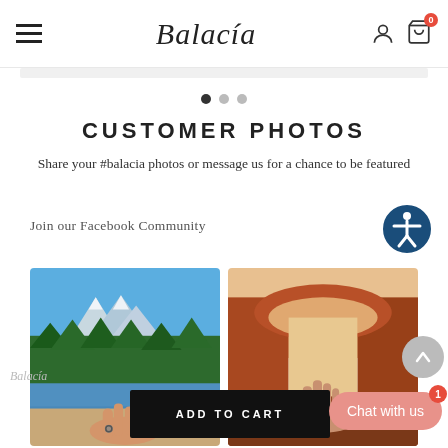Balacía
CUSTOMER PHOTOS
Share your #balacia photos or message us for a chance to be featured
Join our Facebook Community
[Figure (photo): Customer photo 1: hand with ring held up against mountain lake and forest landscape with blue sky]
[Figure (photo): Customer photo 2: hand with ring held up against red rock arch formation at sunset]
ADD TO CART
Chat with us